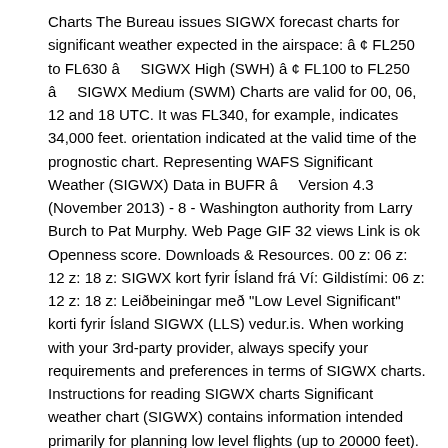Charts The Bureau issues SIGWX forecast charts for significant weather expected in the airspace: â ¢ FL250 to FL630 â SIGWX High (SWH) â ¢ FL100 to FL250 â SIGWX Medium (SWM) Charts are valid for 00, 06, 12 and 18 UTC. It was FL340, for example, indicates 34,000 feet. orientation indicated at the valid time of the prognostic chart. Representing WAFS Significant Weather (SIGWX) Data in BUFR â Version 4.3 (November 2013) - 8 - Washington authority from Larry Burch to Pat Murphy. Web Page GIF 32 views Link is ok Openness score. Downloads & Resources. 00 z: 06 z: 12 z: 18 z: SIGWX kort fyrir Ísland frá Ví: Gildistími: 06 z: 12 z: 18 z: Leiðbeiningar með "Low Level Significant" korti fyrir Ísland SIGWX (LLS) vedur.is. When working with your 3rd-party provider, always specify your requirements and preferences in terms of SIGWX charts. Instructions for reading SIGWX charts Significant weather chart (SIGWX) contains information intended primarily for planning low level flights (up to 20000 feet). Official Representative in Thailand LINKS_2020_10.pdf. Download Here is an overview of what you need to know: Significant Weather – or SIGWX – is a high-level chart indicating forecast position of jet streams, tropopause